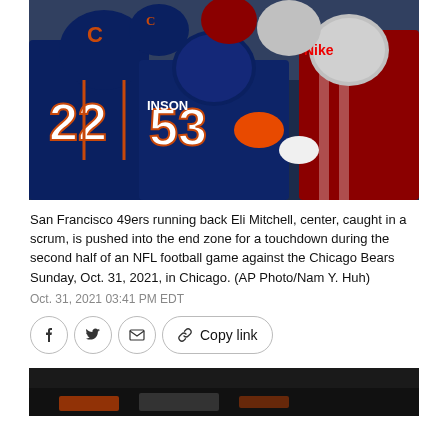[Figure (photo): Chicago Bears players including #22 and #53 Johnson scrum at end zone against San Francisco 49ers players; close-up of helmets and jerseys in navy blue with orange accents]
San Francisco 49ers running back Eli Mitchell, center, caught in a scrum, is pushed into the end zone for a touchdown during the second half of an NFL football game against the Chicago Bears Sunday, Oct. 31, 2021, in Chicago. (AP Photo/Nam Y. Huh)
Oct. 31, 2021 03:41 PM EDT
[Figure (screenshot): Social share buttons: Facebook, Twitter, Email, Copy link]
[Figure (photo): Partial bottom photo, dark background with orange elements visible at bottom of page]